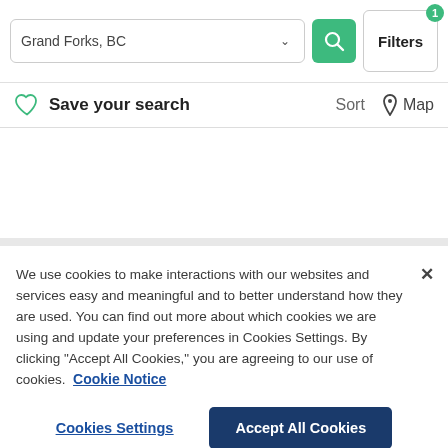[Figure (screenshot): Search bar with 'Grand Forks, BC' text, dropdown caret, green search button with magnifying glass icon, and Filters button with badge showing '1']
Save your search
Sort  Map
We use cookies to make interactions with our websites and services easy and meaningful and to better understand how they are used. You can find out more about which cookies we are using and update your preferences in Cookies Settings. By clicking "Accept All Cookies," you are agreeing to our use of cookies.  Cookie Notice
Cookies Settings
Accept All Cookies